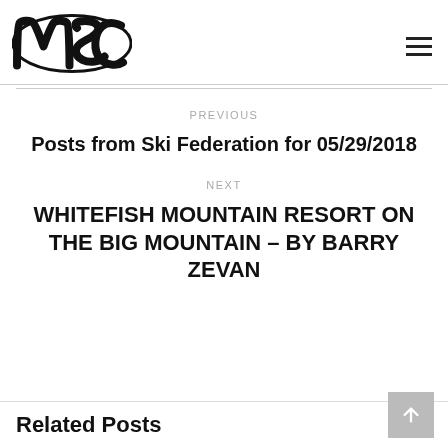MSC logo and navigation menu
PREVIOUS
Posts from Ski Federation for 05/29/2018
NEXT
WHITEFISH MOUNTAIN RESORT ON THE BIG MOUNTAIN – BY BARRY ZEVAN
Related Posts